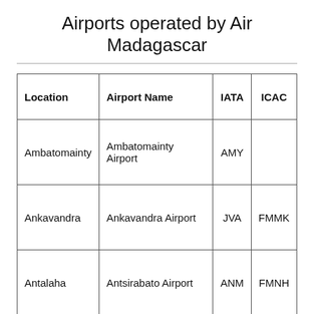Airports operated by Air Madagascar
| Location | Airport Name | IATA | ICAC |
| --- | --- | --- | --- |
| Ambatomainty | Ambatomainty Airport | AMY |  |
| Ankavandra | Ankavandra Airport | JVA | FMMK |
| Antalaha | Antsirabato Airport | ANM | FMNH |
| Antananarivo | Ivato International Airport | TNR | FMMI |